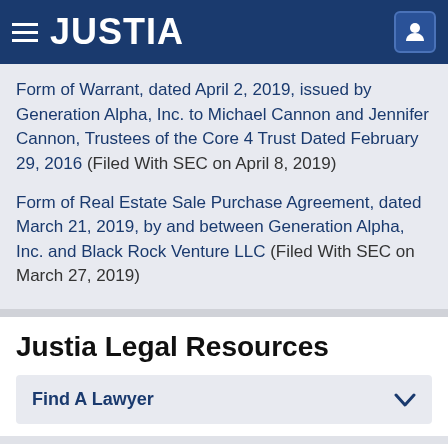JUSTIA
Form of Warrant, dated April 2, 2019, issued by Generation Alpha, Inc. to Michael Cannon and Jennifer Cannon, Trustees of the Core 4 Trust Dated February 29, 2016 (Filed With SEC on April 8, 2019)
Form of Real Estate Sale Purchase Agreement, dated March 21, 2019, by and between Generation Alpha, Inc. and Black Rock Venture LLC (Filed With SEC on March 27, 2019)
Justia Legal Resources
Find A Lawyer